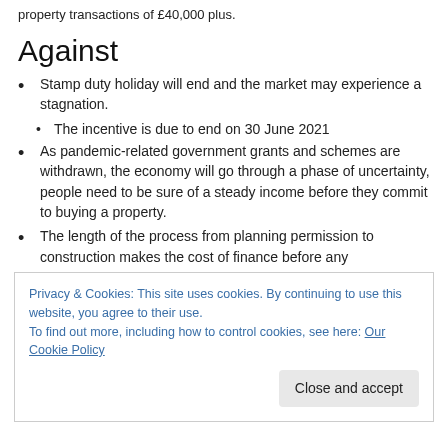property transactions of £40,000 plus.
Against
Stamp duty holiday will end and the market may experience a stagnation.
The incentive is due to end on 30 June 2021
As pandemic-related government grants and schemes are withdrawn, the economy will go through a phase of uncertainty, people need to be sure of a steady income before they commit to buying a property.
The length of the process from planning permission to construction makes the cost of finance before any
Privacy & Cookies: This site uses cookies. By continuing to use this website, you agree to their use.
To find out more, including how to control cookies, see here: Our Cookie Policy
Close and accept
financing.